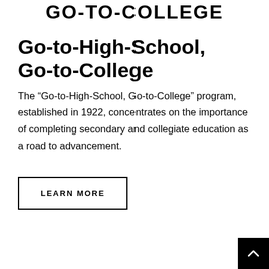GO-TO-COLLEGE
Go-to-High-School, Go-to-College
The “Go-to-High-School, Go-to-College” program, established in 1922, concentrates on the importance of completing secondary and collegiate education as a road to advancement.
LEARN MORE